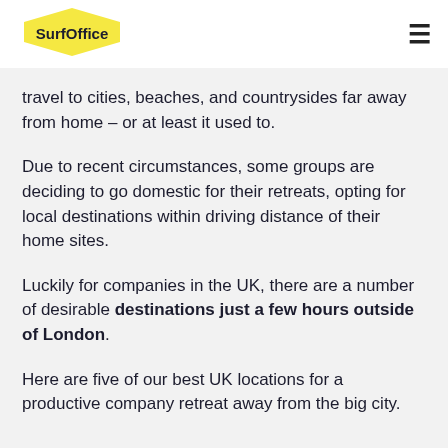SurfOffice
travel to cities, beaches, and countrysides far away from home – or at least it used to.
Due to recent circumstances, some groups are deciding to go domestic for their retreats, opting for local destinations within driving distance of their home sites.
Luckily for companies in the UK, there are a number of desirable destinations just a few hours outside of London.
Here are five of our best UK locations for a productive company retreat away from the big city.